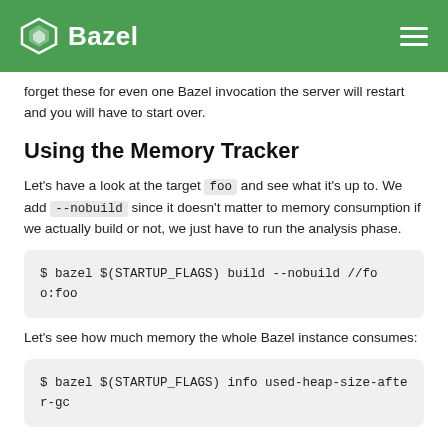Bazel
forget these for even one Bazel invocation the server will restart and you will have to start over.
Using the Memory Tracker
Let's have a look at the target foo and see what it's up to. We add --nobuild since it doesn't matter to memory consumption if we actually build or not, we just have to run the analysis phase.
$ bazel $(STARTUP_FLAGS) build --nobuild //foo:foo
Let's see how much memory the whole Bazel instance consumes:
$ bazel $(STARTUP_FLAGS) info used-heap-size-after-gc